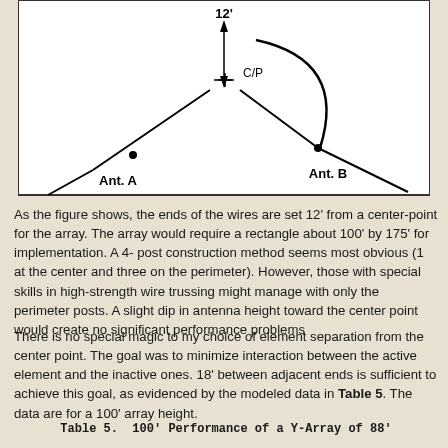[Figure (engineering-diagram): Diagram showing a Y-array antenna layout with two antennas (Ant. A and Ant. B) extending diagonally from a center point labeled C/P. A vertical double-headed arrow indicates 12 feet from the center point. A curved line (arc) connects near Ant. B.]
As the figure shows, the ends of the wires are set 12' from a center-point for the array. The array would require a rectangle about 100' by 175' for implementation. A 4- post construction method seems most obvious (1 at the center and three on the perimeter). However, those with special skills in high-strength wire trussing might manage with only the perimeter posts. A slight dip in antenna height toward the center point would create no significant performance problems
There is no special magic to my choice of element separation from the center point. The goal was to minimize interaction between the active element and the inactive ones. 18' between adjacent ends is sufficient to achieve this goal, as evidenced by the modeled data in Table 5. The data are for a 100' array height.
Table 5.  100' Performance of a Y-Array of 88'